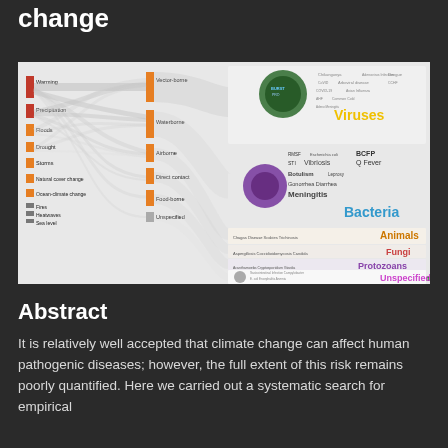change
[Figure (infographic): A Sankey/flow diagram showing connections between climate-related hazards (Warming, Precipitation, Floods, Drought, Storms, Natural cover change, Ocean-climate change, Fires, Heatwaves, Sea level) on the left, transmission routes (Vector-borne, Waterborne, Airborne, Direct contact, Food-borne, Unspecified) in the middle, and pathogen types (Viruses, Bacteria, Animals, Fungi, Protozoans, Plants, Unspecified) on the right. Word clouds and microscopy images illustrate pathogen categories.]
Abstract
It is relatively well accepted that climate change can affect human pathogenic diseases; however, the full extent of this risk remains poorly quantified. Here we carried out a systematic search for empirical